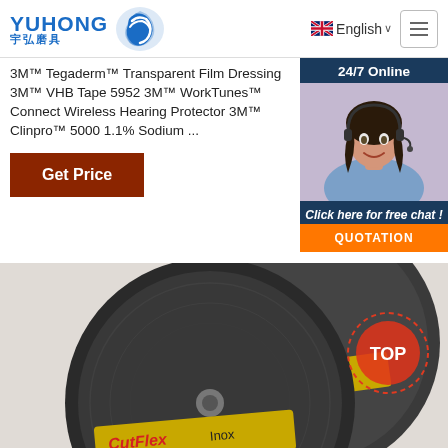[Figure (logo): YUHONG 宇弘磨具 logo with blue wave/droplet icon]
English
3M™ Tegaderm™ Transparent Film Dressing 3M™ VHB Tape 5952 3M™ WorkTunes™ Connect Wireless Hearing Protector 3M™ Clinpro™ 5000 1.1% Sodium ...
[Figure (photo): Customer service representative woman wearing headset, smiling, with 24/7 Online header and Click here for free chat! QUOTATION button overlay]
Get Price
[Figure (photo): CutFlex Inox abrasive cutting discs - two dark grey grinding wheels with yellow and red CutFlex Inox labels]